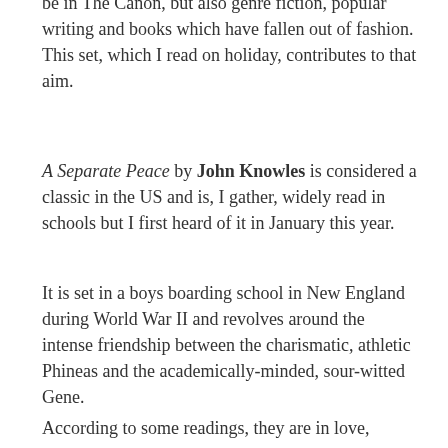be in The Canon, but also genre fiction, popular writing and books which have fallen out of fashion. This set, which I read on holiday, contributes to that aim.
A Separate Peace by John Knowles is considered a classic in the US and is, I gather, widely read in schools but I first heard of it in January this year.
It is set in a boys boarding school in New England during World War II and revolves around the intense friendship between the charismatic, athletic Phineas and the academically-minded, sour-witted Gene.
According to some readings, they are in love,